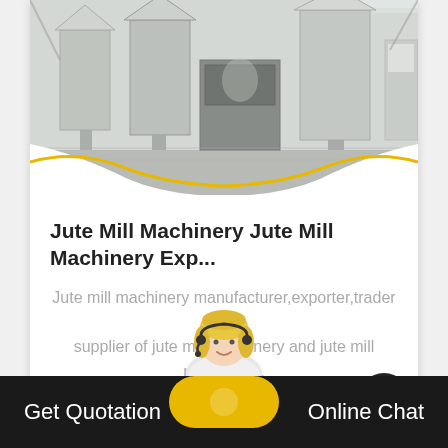[Figure (photo): Industrial factory interior showing large machinery, silos, and conveyor equipment in a warehouse setting with concrete floors]
Jute Mill Machinery Jute Mill Machinery Exp...
Jute mill machinery manufacturer,exporter,trader & supplier of jute mill machinery and jute mill machinery..
read more
Get Quotation
[Figure (photo): Customer service agent / headset operator female figure]
Online Chat